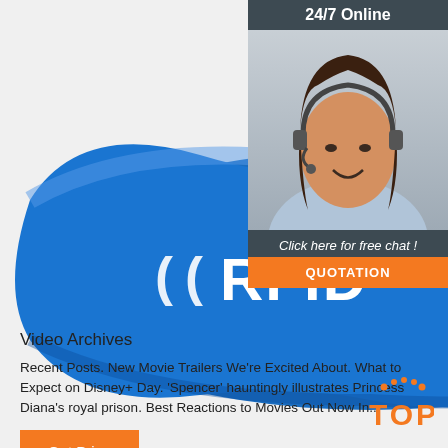[Figure (photo): Blue RFID silicone wristband with white ((RFID)) text printed in center, shown on white background]
[Figure (infographic): 24/7 Online customer support widget showing a woman with headset, 'Click here for free chat!' text, and orange QUOTATION button]
Video Archives
Recent Posts. New Movie Trailers We're Excited About. What to Expect on Disney+ Day. 'Spencer' hauntingly illustrates Princess Diana's royal prison. Best Reactions to Movies Out Now In...
[Figure (logo): Orange TOP button with dots]
Get Price